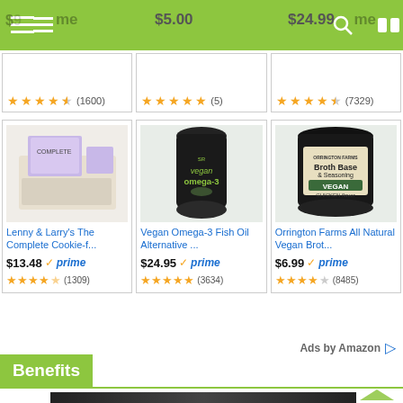$5.00  $24.99
[Figure (screenshot): Top row of Amazon product cards showing prices and star ratings: (1600), (5), (7529)]
[Figure (photo): Lenny & Larry's The Complete Cookie-f... product image]
Lenny & Larry's The Complete Cookie-f...
$13.48 prime
(1309)
[Figure (photo): Vegan Omega-3 Fish Oil Alternative supplement bottle]
Vegan Omega-3 Fish Oil Alternative ...
$24.95 prime
(3634)
[Figure (photo): Orrington Farms All Natural Vegan Broth Base & Seasoning jar]
Orrington Farms All Natural Vegan Brot...
$6.99 prime
(8485)
Ads by Amazon
Benefits
[Figure (screenshot): Bottom partial image strip showing a dark video thumbnail]